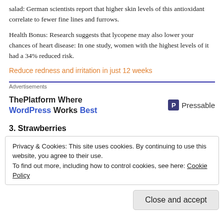salad: German scientists report that higher skin levels of this antioxidant correlate to fewer fine lines and furrows.
Health Bonus: Research suggests that lycopene may also lower your chances of heart disease: In one study, women with the highest levels of it had a 34% reduced risk.
Reduce redness and irritation in just 12 weeks
[Figure (other): Advertisement banner: ThePlatform Where WordPress Works Best — Pressable logo]
3. Strawberries
Privacy & Cookies: This site uses cookies. By continuing to use this website, you agree to their use. To find out more, including how to control cookies, see here: Cookie Policy
Close and accept